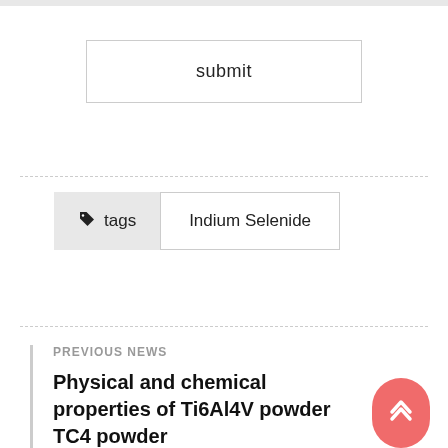submit
tags  Indium Selenide
PREVIOUS NEWS
Physical and chemical properties of Ti6Al4V powder TC4 powder